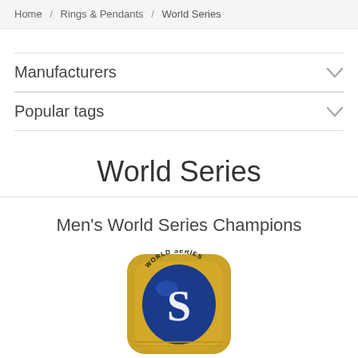Home / Rings & Pendants / World Series
Manufacturers
Popular tags
World Series
Men's World Series Champions
[Figure (photo): A World Series championship ring with a blue center stone featuring an 'S' letter and 'WORLD SERIES' text around the gold band, partially cropped at the bottom of the page.]